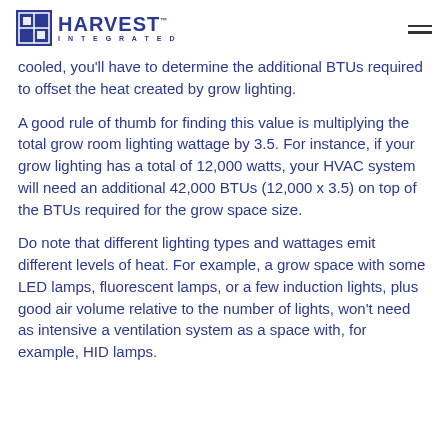HARVEST INTEGRATED
cooled, you'll have to determine the additional BTUs required to offset the heat created by grow lighting.
A good rule of thumb for finding this value is multiplying the total grow room lighting wattage by 3.5. For instance, if your grow lighting has a total of 12,000 watts, your HVAC system will need an additional 42,000 BTUs (12,000 x 3.5) on top of the BTUs required for the grow space size.
Do note that different lighting types and wattages emit different levels of heat. For example, a grow space with some LED lamps, fluorescent lamps, or a few induction lights, plus good air volume relative to the number of lights, won't need as intensive a ventilation system as a space with, for example, HID lamps.